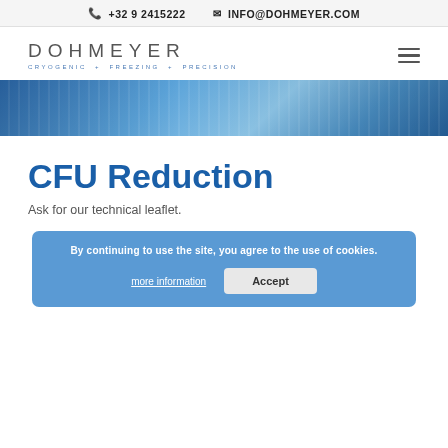+32 9 2415222  INFO@DOHMEYER.COM
[Figure (logo): DOHMEYER logo with tagline CRYOGENIC + FREEZING + PRECISION]
[Figure (photo): Blue-tinted industrial/cryogenic equipment hero image band]
CFU Reduction
Ask for our technical leaflet.
By continuing to use the site, you agree to the use of cookies.
more information   Accept